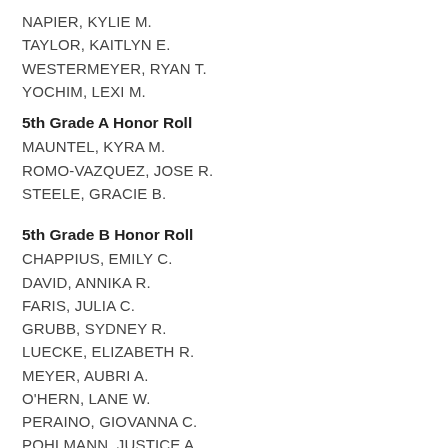NAPIER, KYLIE M.
TAYLOR, KAITLYN E.
WESTERMEYER, RYAN T.
YOCHIM, LEXI M.
5th Grade A Honor Roll
MAUNTEL, KYRA M.
ROMO-VAZQUEZ, JOSE R.
STEELE, GRACIE B.
5th Grade B Honor Roll
CHAPPIUS, EMILY C.
DAVID, ANNIKA R.
FARIS, JULIA C.
GRUBB, SYDNEY R.
LUECKE, ELIZABETH R.
MEYER, AUBRI A.
O'HERN, LANE W.
PERAINO, GIOVANNA C.
POHLMANN, JUSTICE A.
SEITTER, ABIGAIL K.